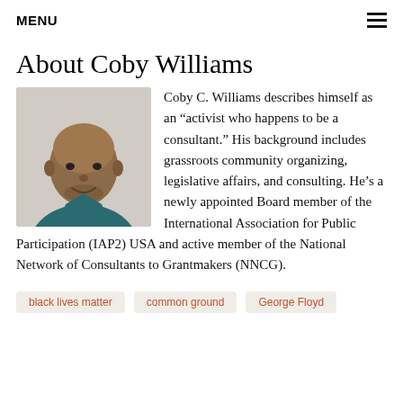MENU
About Coby Williams
[Figure (photo): Headshot of Coby C. Williams, a bald Black man wearing a teal/dark blue shirt, smiling, photographed from the chest up against a white background.]
Coby C. Williams describes himself as an “activist who happens to be a consultant.” His background includes grassroots community organizing, legislative affairs, and consulting. He’s a newly appointed Board member of the International Association for Public Participation (IAP2) USA and active member of the National Network of Consultants to Grantmakers (NNCG).
black lives matter
common ground
George Floyd